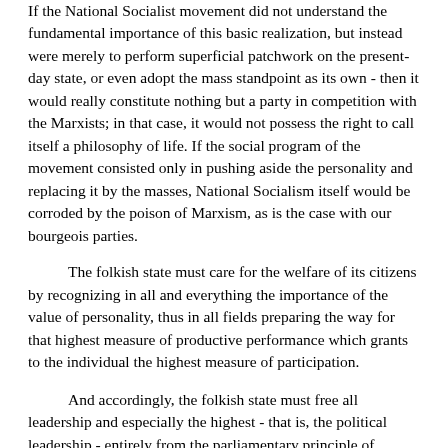If the National Socialist movement did not understand the fundamental importance of this basic realization, but instead were merely to perform superficial patchwork on the present-day state, or even adopt the mass standpoint as its own - then it would really constitute nothing but a party in competition with the Marxists; in that case, it would not possess the right to call itself a philosophy of life. If the social program of the movement consisted only in pushing aside the personality and replacing it by the masses, National Socialism itself would be corroded by the poison of Marxism, as is the case with our bourgeois parties.
The folkish state must care for the welfare of its citizens by recognizing in all and everything the importance of the value of personality, thus in all fields preparing the way for that highest measure of productive performance which grants to the individual the highest measure of participation.
And accordingly, the folkish state must free all leadership and especially the highest - that is, the political leadership - entirely from the parliamentary principle of majority rule - in other words, mass rule - and instead absolutely guarantee the right of the